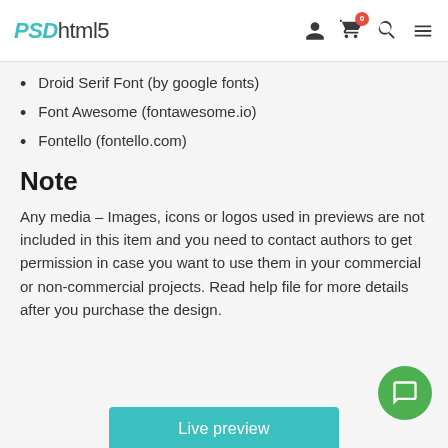PSDhtml5
Droid Serif Font (by google fonts)
Font Awesome (fontawesome.io)
Fontello (fontello.com)
Note
Any media – Images, icons or logos used in previews are not included in this item and you need to contact authors to get permission in case you want to use them in your commercial or non-commercial projects. Read help file for more details after you purchase the design.
Live preview